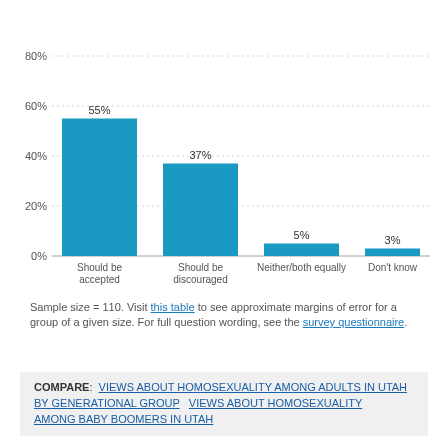[Figure (bar-chart): ]
Sample size = 110. Visit this table to see approximate margins of error for a group of a given size. For full question wording, see the survey questionnaire.
COMPARE: VIEWS ABOUT HOMOSEXUALITY AMONG ADULTS IN UTAH BY GENERATIONAL GROUP   VIEWS ABOUT HOMOSEXUALITY AMONG BABY BOOMERS IN UTAH